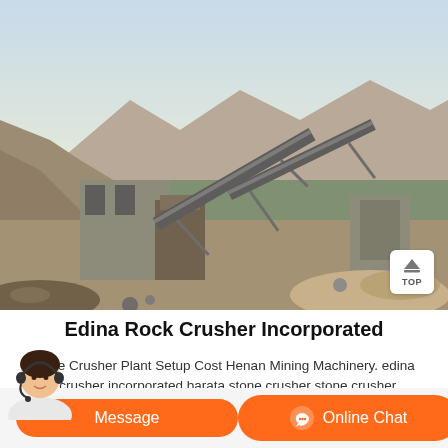[Figure (photo): Outdoor industrial rock crusher / stone crushing plant with conveyor belts on a hillside quarry, mountains in background, dusty rocky terrain]
Edina Rock Crusher Incorporated
Stone Crusher Plant Setup Cost Henan Mining Machinery. edina rock crusher incorporated barata stone crusher stone crusher plant in
[Figure (photo): Customer service avatar - woman wearing headset]
Message
Online Chat